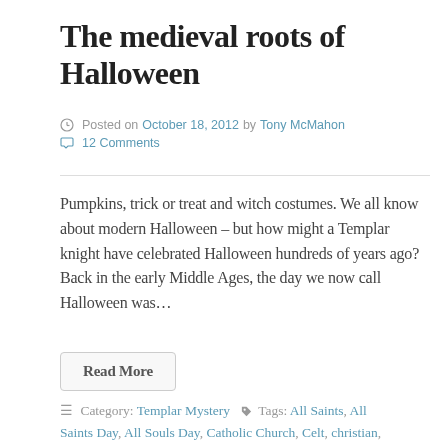The medieval roots of Halloween
Posted on October 18, 2012 by Tony McMahon
💬 12 Comments
Pumpkins, trick or treat and witch costumes. We all know about modern Halloween – but how might a Templar knight have celebrated Halloween hundreds of years ago? Back in the early Middle Ages, the day we now call Halloween was…
Read More
≡ Category: Templar Mystery 🏷 Tags: All Saints, All Saints Day, All Souls Day, Catholic Church, Celt, christian, death, evil, Halloween, Holiday, horror, medieval,